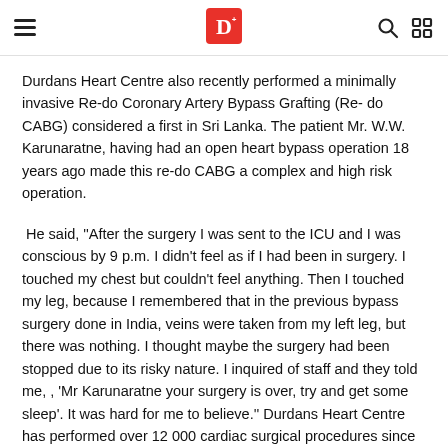[Navigation header with hamburger menu, Dinamina logo, search and grid icons]
Durdans Heart Centre also recently performed a minimally invasive Re-do Coronary Artery Bypass Grafting (Re- do CABG) considered a first in Sri Lanka. The patient Mr. W.W. Karunaratne, having had an open heart bypass operation 18 years ago made this re-do CABG a complex and high risk operation.
He said, ''After the surgery I was sent to the ICU and I was conscious by 9 p.m. I didn't feel as if I had been in surgery. I touched my chest but couldn't feel anything. Then I touched my leg, because I remembered that in the previous bypass surgery done in India, veins were taken from my left leg, but there was nothing. I thought maybe the surgery had been stopped due to its risky nature. I inquired of staff and they told me, , 'Mr Karunaratne your surgery is over, try and get some sleep'. It was hard for me to believe.'' Durdans Heart Centre has performed over 12 000 cardiac surgical procedures since its